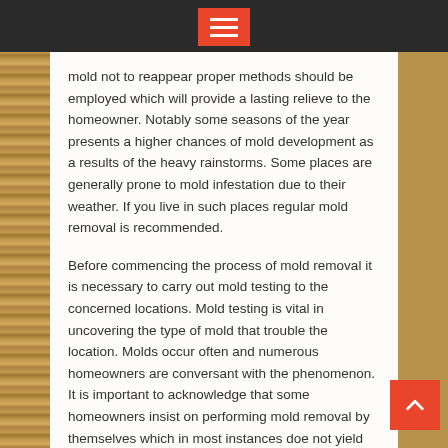☰
mold not to reappear proper methods should be employed which will provide a lasting relieve to the homeowner. Notably some seasons of the year presents a higher chances of mold development as a results of the heavy rainstorms. Some places are generally prone to mold infestation due to their weather. If you live in such places regular mold removal is recommended.
Before commencing the process of mold removal it is necessary to carry out mold testing to the concerned locations. Mold testing is vital in uncovering the type of mold that trouble the location. Molds occur often and numerous homeowners are conversant with the phenomenon. It is important to acknowledge that some homeowners insist on performing mold removal by themselves which in most instances doe not yield positive results. This is mostly the case because molds are persistent and need efficient techniques to